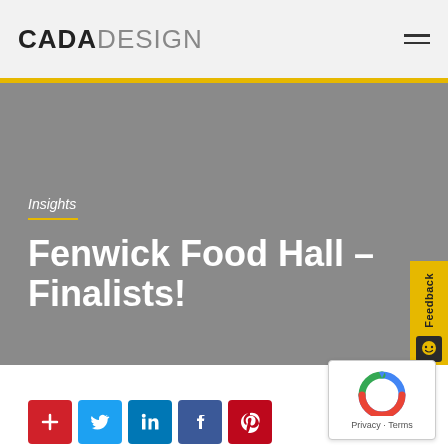CADA DESIGN
Insights
Fenwick Food Hall – Finalists!
[Figure (logo): Row of social share icon buttons: add (+), Twitter, LinkedIn, Facebook, Pinterest]
[Figure (other): Google reCAPTCHA badge with Privacy and Terms links]